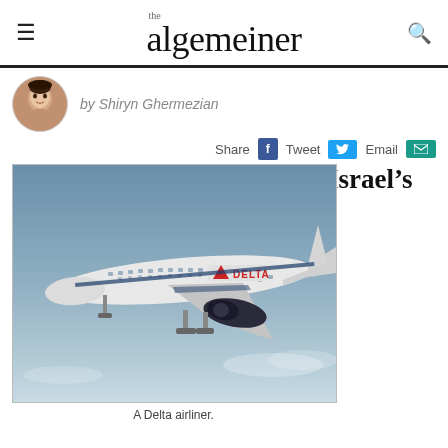the algemeiner
by Shiryn Ghermezian
Share  Tweet  Email
Israel's
[Figure (photo): A Delta airliner in flight against a blue sky, with landing gear deployed and Delta logo visible on fuselage]
A Delta airliner.